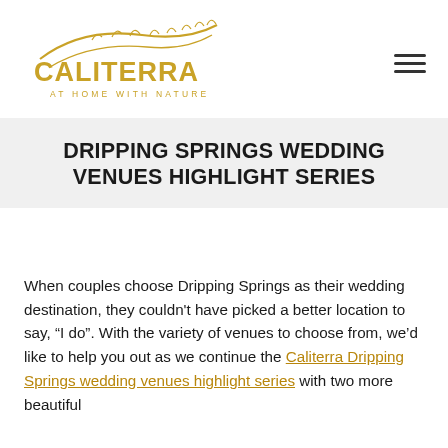[Figure (logo): Caliterra logo with gold decorative wheat/leaf swirl above, bold gold text CALITERRA, and subtitle AT HOME WITH NATURE in gold spaced lettering]
DRIPPING SPRINGS WEDDING VENUES HIGHLIGHT SERIES
When couples choose Dripping Springs as their wedding destination, they couldn't have picked a better location to say, “I do”. With the variety of venues to choose from, we’d like to help you out as we continue the Caliterra Dripping Springs wedding venues highlight series with two more beautiful